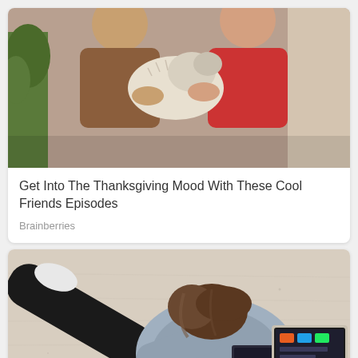[Figure (photo): Two people exchanging or holding a dog, one wearing a brown jacket, the other in a red sweater, indoors near a plant]
Get Into The Thanksgiving Mood With These Cool Friends Episodes
Brainberries
[Figure (photo): Overhead view of a young woman with brown hair lying on beige carpet, wearing a grey hoodie and black pants, using a laptop computer]